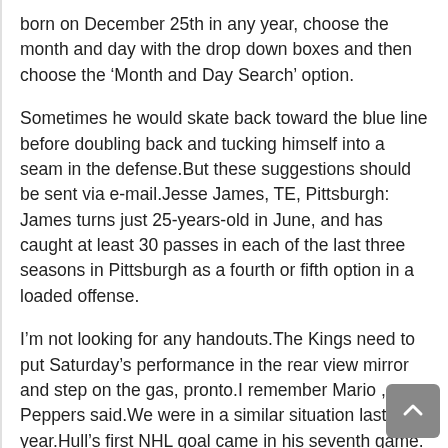born on December 25th in any year, choose the month and day with the drop down boxes and then choose the ‘Month and Day Search’ option.
Sometimes he would skate back toward the blue line before doubling back and tucking himself into a seam in the defense.But these suggestions should be sent via e-mail.Jesse James, TE, Pittsburgh: James turns just 25-years-old in June, and has caught at least 30 passes in each of the last three seasons in Pittsburgh as a fourth or fifth option in a loaded offense.
I’m not looking for any handouts.The Kings need to put Saturday’s performance in the rear view mirror and step on the gas, pronto.I remember Mario , Peppers said.We were in a similar situation last year.Hull’s first NHL goal came in his seventh game.
According to ’s Rob Bradford, the 35-year-old played in eight successful innings Sunday morning, and has nine more scheduled for Tuesday.By the time we were done